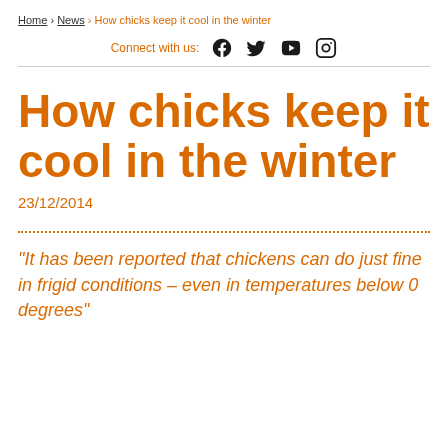Home › News › How chicks keep it cool in the winter
Connect with us:
How chicks keep it cool in the winter
23/12/2014
"It has been reported that chickens can do just fine in frigid conditions – even in temperatures below 0 degrees"